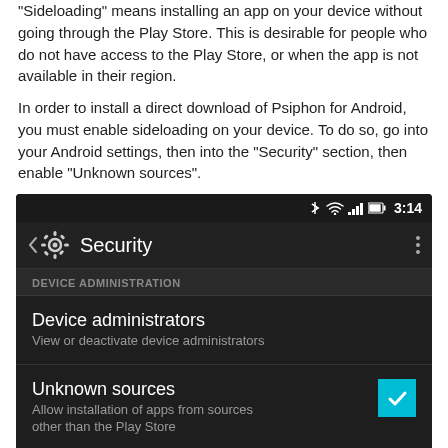“Sideloading” means installing an app on your device without going through the Play Store. This is desirable for people who do not have access to the Play Store, or when the app is not available in their region.
In order to install a direct download of Psiphon for Android, you must enable sideloading on your device. To do so, go into your Android settings, then into the “Security” section, then enable “Unknown sources”.
[Figure (screenshot): Android Security settings screen showing status bar with time 3:14, Security page title with gear icon, DEVICE ADMINISTRATION section header, Device administrators option with subtitle 'View or deactivate device administrators', and Unknown sources option with subtitle 'Allow installation of apps from sources other than the Play Store' with a checked checkbox.]